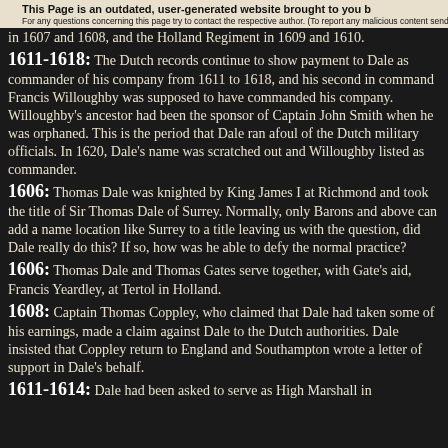This Page is an outdated, user-generated website brought to you b
For any questions concerning this page try to contact the respective author. (To report any malicious content send the
in 1607 and 1608, and the Holland Regiment in 1609 and 1610.
1611-1618: The Dutch records continue to show payment to Dale as commander of his company from 1611 to 1618, and his second in command Francis Willoughby was supposed to have commanded his company. Willoughby’s ancestor had been the sponsor of Captain John Smith when he was orphaned. This is the period that Dale ran afoul of the Dutch military officials. In 1620, Dale’s name was scratched out and Willoughby listed as commander.
1606: Thomas Dale was knighted by King James I at Richmond and took the title of Sir Thomas Dale of Surrey. Normally, only Barons and above can add a name location like Surrey to a title leaving us with the question, did Dale really do this? If so, how was he able to defy the normal practice?
1606: Thomas Dale and Thomas Gates serve together, with Gate’s aid, Francis Yeardley, at Tertol in Holland.
1608: Captain Thomas Coppley, who claimed that Dale had taken some of his earnings, made a claim against Dale to the Dutch authorities. Dale insisted that Coppley return to England and Southampton wrote a letter of support in Dale’s behalf.
1611-1614: Dale had been asked to serve as High Marshall in